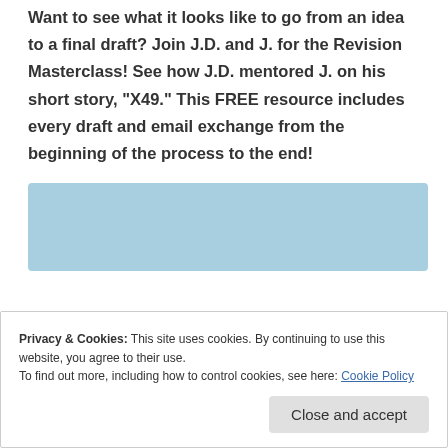Want to see what it looks like to go from an idea to a final draft? Join J.D. and J. for the Revision Masterclass! See how J.D. mentored J. on his short story, "X49." This FREE resource includes every draft and email exchange from the beginning of the process to the end!
[Figure (other): Light blue rectangular input/button area]
Privacy & Cookies: This site uses cookies. By continuing to use this website, you agree to their use.
To find out more, including how to control cookies, see here: Cookie Policy